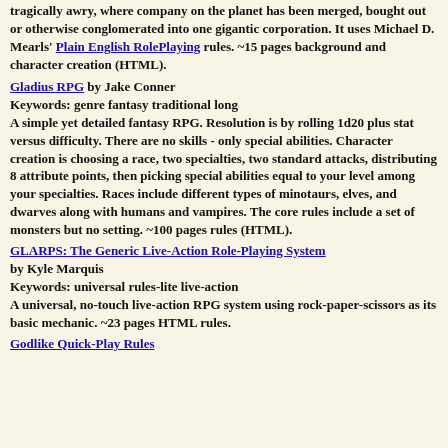tragically awry, where company on the planet has been merged, bought out or otherwise conglomerated into one gigantic corporation. It uses Michael D. Mearls' Plain English RolePlaying rules. ~15 pages background and character creation (HTML).
Gladius RPG by Jake Conner
Keywords: genre fantasy traditional long
A simple yet detailed fantasy RPG. Resolution is by rolling 1d20 plus stat versus difficulty. There are no skills - only special abilities. Character creation is choosing a race, two specialties, two standard attacks, distributing 8 attribute points, then picking special abilities equal to your level among your specialties. Races include different types of minotaurs, elves, and dwarves along with humans and vampires. The core rules include a set of monsters but no setting. ~100 pages rules (HTML).
GLARPS: The Generic Live-Action Role-Playing System by Kyle Marquis
Keywords: universal rules-lite live-action
A universal, no-touch live-action RPG system using rock-paper-scissors as its basic mechanic. ~23 pages HTML rules.
Godlike Quick-Play Rules